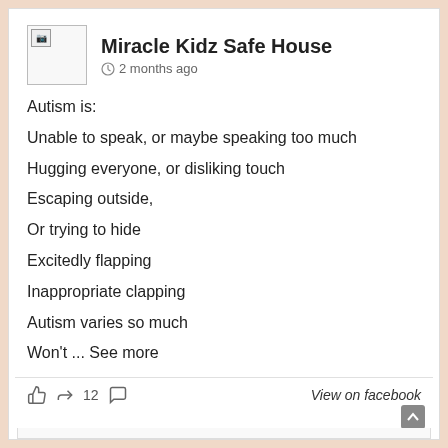Miracle Kidz Safe House · 2 months ago
Autism is:
Unable to speak, or maybe speaking too much
Hugging everyone, or disliking touch
Escaping outside,
Or trying to hide
Excitedly flapping
Inappropriate clapping
Autism varies so much
Won't ... See more
12   View on facebook